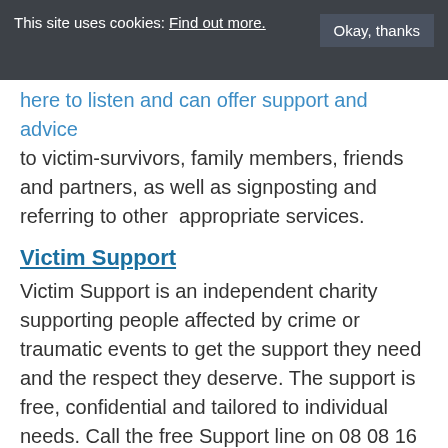This site uses cookies: Find out more.  Okay, thanks
here to listen and can offer support and advice to victim-survivors, family members, friends and partners, as well as signposting and referring to other  appropriate services.
Victim Support
Victim Support is an independent charity supporting people affected by crime or traumatic events to get the support they need and the respect they deserve. The support is free, confidential and tailored to individual needs. Call the free Support line on 08 08 16 89 111 or call your local victim care team in West Yorkshire on 0300 303 1971